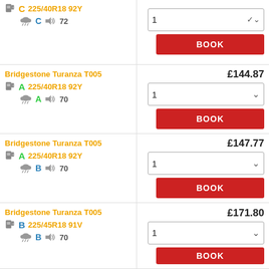| Product | Qty/Book |
| --- | --- |
| C  225/40R18 92Y  |  C  72 | 1  |  BOOK |
| Bridgestone Turanza T005  A  225/40R18 92Y  |  A  70 | £144.87  |  1  |  BOOK |
| Bridgestone Turanza T005  A  225/40R18 92Y  |  B  70 | £147.77  |  1  |  BOOK |
| Bridgestone Turanza T005  B  225/45R18 91V  |  B  70 | £171.80  |  1  |  BOOK |